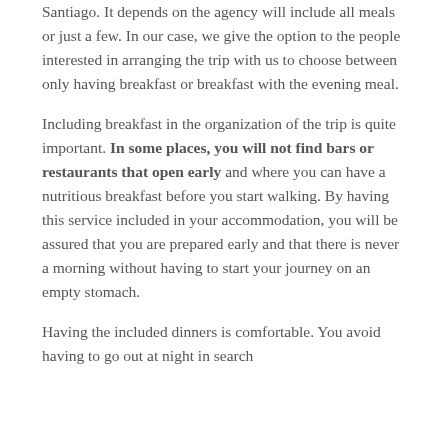Santiago. It depends on the agency will include all meals or just a few. In our case, we give the option to the people interested in arranging the trip with us to choose between only having breakfast or breakfast with the evening meal.
Including breakfast in the organization of the trip is quite important. In some places, you will not find bars or restaurants that open early and where you can have a nutritious breakfast before you start walking. By having this service included in your accommodation, you will be assured that you are prepared early and that there is never a morning without having to start your journey on an empty stomach.
Having the included dinners is comfortable. You avoid having to go out at night in search